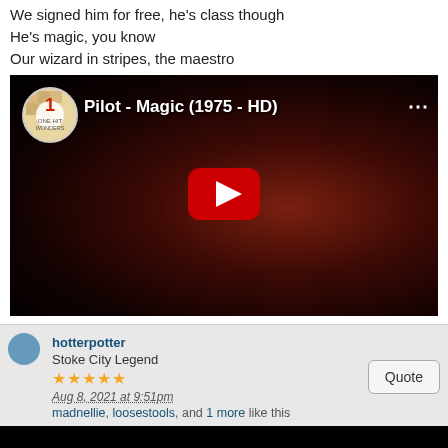We signed him for free, he's class though
He's magic, you know
Our wizard in stripes, the maestro
[Figure (screenshot): YouTube video thumbnail showing 'Pilot - Magic (1975 - HD)' with a dark background featuring a musician with long hair, a red YouTube play button in the center, and a channel logo on the top left.]
hotterpotter
Stoke City Legend
★★★★★
Aug 8, 2021 at 9:51pm
madnellie, loosestools, and 1 more like this